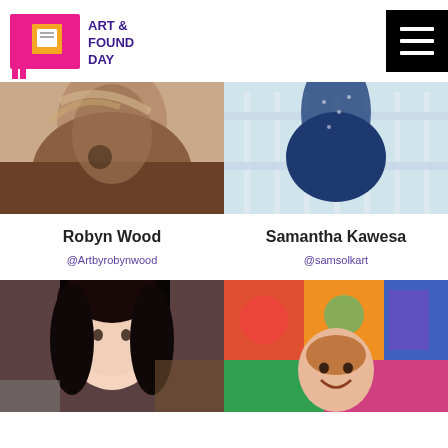[Figure (logo): Art & Found Day logo with pink/magenta frame graphic and purple bold text]
[Figure (photo): Hamburger menu icon button, black square with three white horizontal lines]
[Figure (photo): Photo of Robyn Wood, partially cropped close-up portrait]
Robyn Wood
@Artbyrobynwood
[Figure (photo): Photo of Samantha Kawesa, person in blue dress on balcony]
Samantha Kawesa
@samsolkart
[Figure (photo): Photo of a person with dark hair, indoor portrait]
[Figure (photo): Photo of a smiling woman surrounded by colorful paintings]